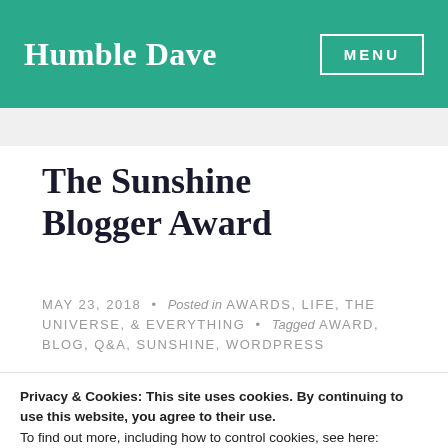Humble Dave | MENU
The Sunshine Blogger Award
MAY 23, 2018 • Posted in AWARDS, LIFE, THE UNIVERSE, & EVERYTHING • Tagged AWARD, BLOG, Q&A, SUNSHINE, WORDPRESS
Privacy & Cookies: This site uses cookies. By continuing to use this website, you agree to their use.
To find out more, including how to control cookies, see here:
Cookie Policy
Close and accept